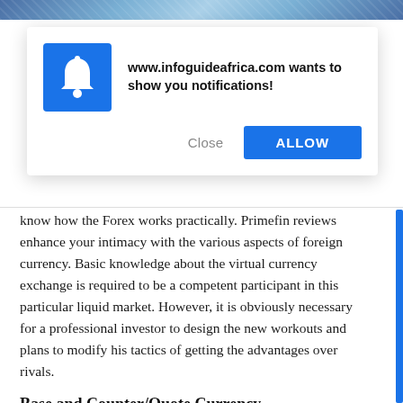[Figure (screenshot): Top decorative image strip showing a network/technology background in blue tones]
[Figure (screenshot): Browser notification dialog box. Bell icon on blue background on the left. Text: 'www.infoguideafrica.com wants to show you notifications!' with two buttons: 'Close' (grey) and 'ALLOW' (blue).]
know how the Forex works practically. Primefin reviews enhance your intimacy with the various aspects of foreign currency. Basic knowledge about the virtual currency exchange is required to be a competent participant in this particular liquid market. However, it is obviously necessary for a professional investor to design the new workouts and plans to modify his tactics of getting the advantages over rivals.
Base and Counter/Quote Currency
Pair of currencies are used for monetary exchange. Here